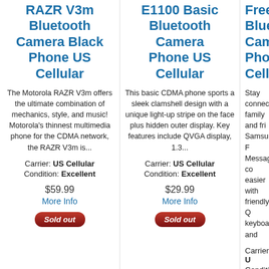RAZR V3m Bluetooth Camera Black Phone US Cellular
The Motorola RAZR V3m offers the ultimate combination of mechanics, style, and music! Motorola’s thinnest multimedia phone for the CDMA network, the RAZR V3m is...
Carrier: US Cellular
Condition: Excellent
$59.99
More Info
Sold out
E1100 Basic Bluetooth Camera Phone US Cellular
This basic CDMA phone sports a sleek clamshell design with a unique light-up stripe on the face plus hidden outer display. Key features include QVGA display, 1.3...
Carrier: US Cellular
Condition: Excellent
$29.99
More Info
Sold out
Freef... Bluetooth Camera Phone... Cell...
Stay connect... family and fri... Samsung F... Messaging co... easier with... friendly Q... keyboard and...
Carrier: U...
Condition:...
$43...
More...
Sold out